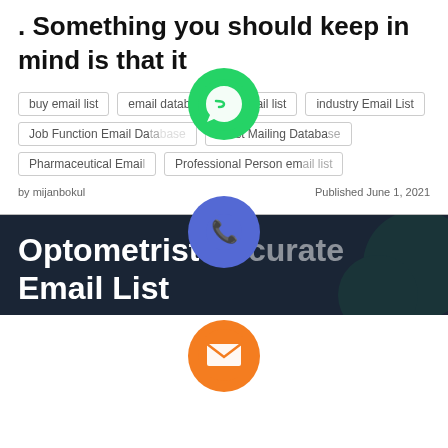. Something you should keep in mind is that it
buy email list
email database
email list
industry Email List
Job Function Email Database
latest Mailing Database
Pharmaceutical Email
Professional Person email list
by mijanbokul    Published June 1, 2021
[Figure (screenshot): Social media share buttons overlay including WhatsApp (green), Phone/Viber call (blue/purple), Email (orange), LINE (green), Viber (purple), and close button (green)]
Optometrist Accurate Email List